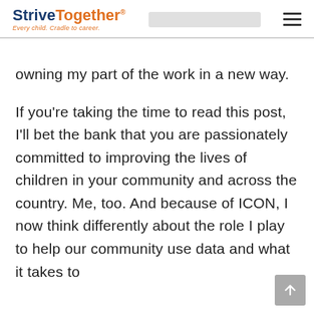StriveTogether® — Every child. Cradle to career.
owning my part of the work in a new way.
If you're taking the time to read this post, I'll bet the bank that you are passionately committed to improving the lives of children in your community and across the country. Me, too. And because of ICON, I now think differently about the role I play to help our community use data and what it takes to